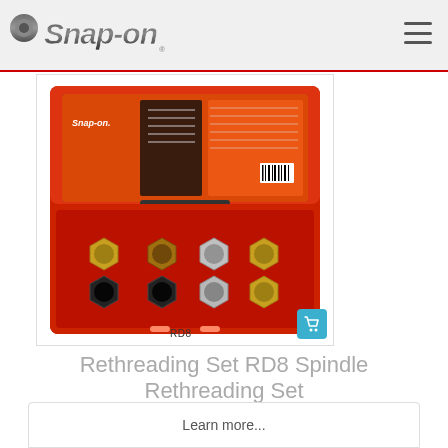[Figure (logo): Snap-on logo in chrome/metallic style with wrench integrated into the design]
[Figure (photo): Snap-on Rethreading Set RD8 Spindle Rethreading Set shown in a red plastic case open to reveal 8 hexagonal rethreading dies in gold, black, and silver colors arranged in two rows]
Rethreading Set RD8 Spindle Rethreading Set
Learn more...